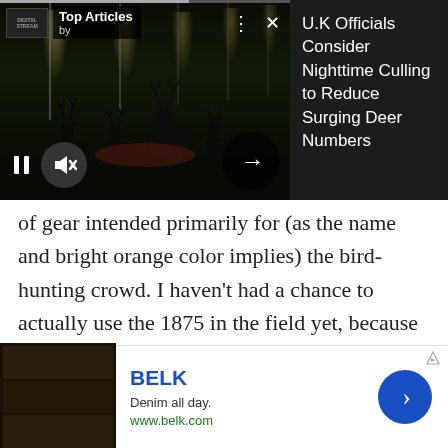[Figure (screenshot): Top Articles widget showing a nighttime photo of deer silhouettes with street lights in foggy conditions. Widget has play/pause controls, mute button, arrow navigation. Right side shows article headline.]
U.K Officials Consider Nighttime Culling to Reduce Surging Deer Numbers
of gear intended primarily for (as the name and bright orange color implies) the bird-hunting crowd. I haven't had a chance to actually use the 1875 in the field yet, because my receiving it last week just happened to coincide with the hottest and most miserable stretch of weather to hit so far this summer, so I haven't even been running the dogs in the early morning.
[Figure (screenshot): Advertisement for BELK: 'Denim all day. www.belk.com' with fashion images on the left and a blue arrow button on the right.]